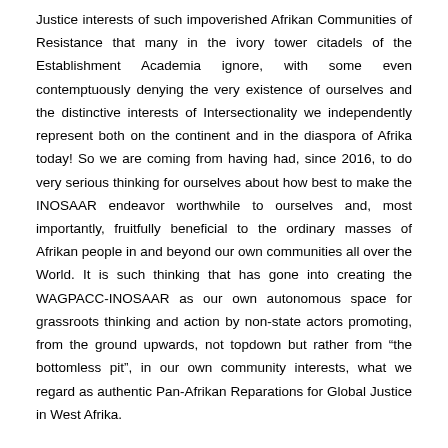Justice interests of such impoverished Afrikan Communities of Resistance that many in the ivory tower citadels of the Establishment Academia ignore, with some even contemptuously denying the very existence of ourselves and the distinctive interests of Intersectionality we independently represent both on the continent and in the diaspora of Afrika today! So we are coming from having had, since 2016, to do very serious thinking for ourselves about how best to make the INOSAAR endeavor worthwhile to ourselves and, most importantly, fruitfully beneficial to the ordinary masses of Afrikan people in and beyond our own communities all over the World. It is such thinking that has gone into creating the WAGPACC-INOSAAR as our own autonomous space for grassroots thinking and action by non-state actors promoting, from the ground upwards, not topdown but rather from "the bottomless pit", in our own community interests, what we regard as authentic Pan-Afrikan Reparations for Global Justice in West Afrika.
The WAGPACC-INOSAAR is an autonomous networking Bloc of grassroots formations that are prioritizing the agency of the ordinary